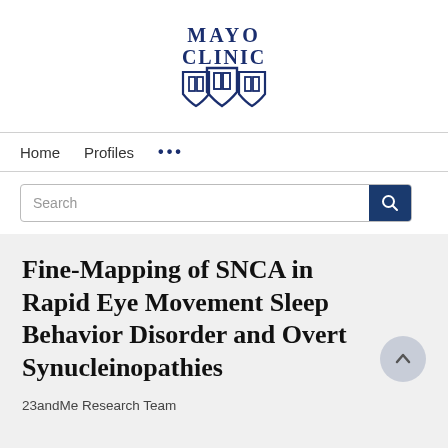[Figure (logo): Mayo Clinic logo with text 'MAYO CLINIC' and three shield icons in dark blue]
Home   Profiles   ...
Search
Fine-Mapping of SNCA in Rapid Eye Movement Sleep Behavior Disorder and Overt Synucleinopathies
23andMe Research Team